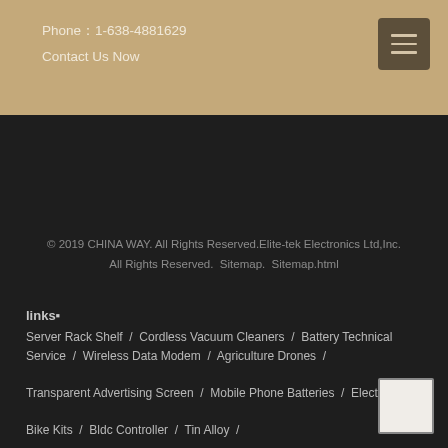Phone：1-638-4881629
Contact Us Now
© 2019 CHINA WAY. All Rights Reserved.Elite-tek Electronics Ltd,Inc. All Rights Reserved.  Sitemap.  Sitemap.html
links⬛
Server Rack Shelf  /  Cordless Vacuum Cleaners  /  Battery Technical  Service  /  Wireless Data Modem  /  Agriculture Drones  /  Transparent Advertising Screen  /  Mobile Phone Batteries  /  Electric Bike Kits  /  Bldc Controller  /  Tin Alloy  /